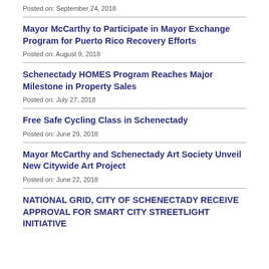Posted on: September 24, 2018
Mayor McCarthy to Participate in Mayor Exchange Program for Puerto Rico Recovery Efforts
Posted on: August 9, 2018
Schenectady HOMES Program Reaches Major Milestone in Property Sales
Posted on: July 27, 2018
Free Safe Cycling Class in Schenectady
Posted on: June 29, 2018
Mayor McCarthy and Schenectady Art Society Unveil New Citywide Art Project
Posted on: June 22, 2018
NATIONAL GRID, CITY OF SCHENECTADY RECEIVE APPROVAL FOR SMART CITY STREETLIGHT INITIATIVE